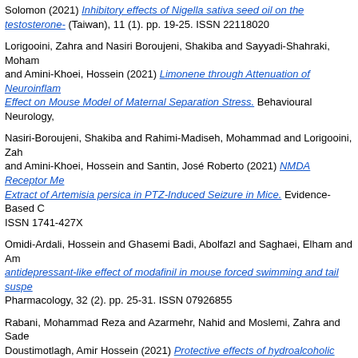Solomon (2021) Inhibitory effects of Nigella sativa seed oil on the testosterone- (Taiwan), 11 (1). pp. 19-25. ISSN 22118020
Lorigooini, Zahra and Nasiri Boroujeni, Shakiba and Sayyadi-Shahraki, Moham and Amini-Khoei, Hossein (2021) Limonene through Attenuation of Neuroinflam Effect on Mouse Model of Maternal Separation Stress. Behavioural Neurology,
Nasiri-Boroujeni, Shakiba and Rahimi-Madiseh, Mohammad and Lorigooini, Zah and Amini-Khoei, Hossein and Santin, José Roberto (2021) NMDA Receptor Me Extract of Artemisia persica in PTZ-Induced Seizure in Mice. Evidence-Based C ISSN 1741-427X
Omidi-Ardali, Hossein and Ghasemi Badi, Abolfazl and Saghaei, Elham and Am antidepressant-like effect of modafinil in mouse forced swimming and tail suspe Pharmacology, 32 (2). pp. 25-31. ISSN 07926855
Rabani, Mohammad Reza and Azarmehr, Nahid and Moslemi, Zahra and Sade Doustimotlagh, Amir Hossein (2021) Protective effects of hydroalcoholic extract nephrotoxicity in female rats. RESEARCH IN PHARMACEUTICAL SCIENCES,
Toghyani Khorasgani, Abbas and Amini-Khoei, Hossein and Shadkhast, Moham Habibian Dehkordi, Saied (2021) Quinic acid through mitigation of oxidative stre mice. Future Natural Products, 7 (2). pp. 1-11.
Bayani Ershadi, Amir Sasan and Amini-Khoei, Hossein and Hosseini, Mir Jamal Depressive Symptoms, Cognitive Impairment and Oxidative Stress: Rise of a N ISSN 03643190
Boroujeni, Shakiba Nasiri and Lorigooini, Zahra and Boldaji, Fatemeh Rahimi a Receptor Exerted Anxiolytic-like Effect in Maternally Separated Mice. Current P